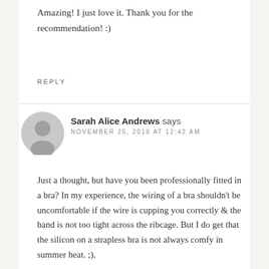Amazing! I just love it. Thank you for the recommendation! :)
REPLY
Sarah Alice Andrews says
NOVEMBER 25, 2016 AT 12:42 AM
Just a thought, but have you been professionally fitted in a bra? In my experience, the wiring of a bra shouldn't be uncomfortable if the wire is cupping you correctly & the band is not too tight across the ribcage. But I do get that the silicon on a strapless bra is not always comfy in summer heat. ;).